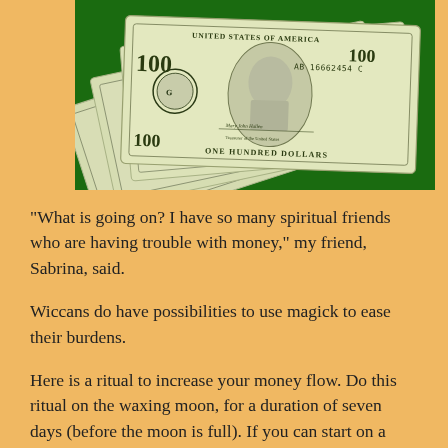[Figure (photo): Photo of multiple $100 US dollar bills fanned out on a dark green background, showing Benjamin Franklin's portrait and serial number AB16662454C]
“What is going on? I have so many spiritual friends who are having trouble with money,” my friend, Sabrina, said.
Wiccans do have possibilities to use magick to ease their burdens.
Here is a ritual to increase your money flow. Do this ritual on the waxing moon, for a duration of seven days (before the moon is full). If you can start on a